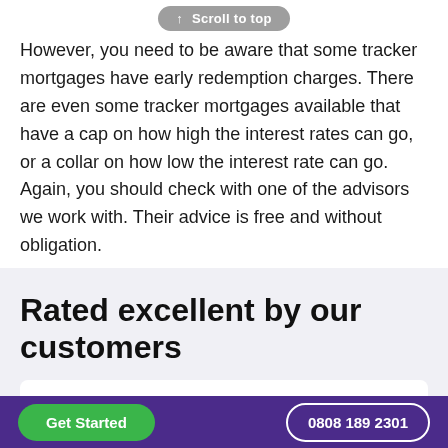[Figure (other): Scroll to top button — grey pill-shaped button with upward arrow and text 'Scroll to top']
However, you need to be aware that some tracker mortgages have early redemption charges. There are even some tracker mortgages available that have a cap on how high the interest rates can go, or a collar on how low the interest rate can go. Again, you should check with one of the advisors we work with. Their advice is free and without obligation.
Rated excellent by our customers
[Figure (other): Review card with five yellow star rating icons]
Get Started   0808 189 2301